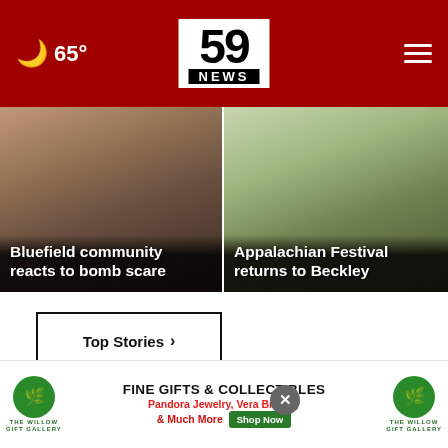65° | 59 NEWS
[Figure (photo): News card: Bluefield community reacts to bomb scare — brick building background]
Bluefield community reacts to bomb scare
[Figure (photo): News card: Appalachian Festival returns to Beckley — bail bonds building exterior]
Appalachian Festival returns to Beckley
Top Stories ›
[Figure (photo): Two men smiling — advertisement photo]
[Figure (photo): The Willow Gift Gallery advertisement — Fine Gifts & Collectibles, Pandora Jewelry, Vera Bradley & Much More, Shop Now]